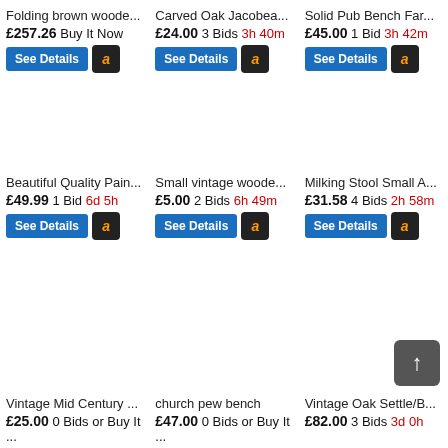Folding brown woode... £257.26 Buy It Now
Carved Oak Jacobea... £24.00 3 Bids 3h 40m
Solid Pub Bench Far... £45.00 1 Bid 3h 42m
Beautiful Quality Pain... £49.99 1 Bid 6d 5h
Small vintage woode... £5.00 2 Bids 6h 49m
Milking Stool Small A... £31.58 4 Bids 2h 58m
Vintage Mid Century ... £25.00 0 Bids or Buy It ...
church pew bench £47.00 0 Bids or Buy It ...
Vintage Oak Settle/B... £82.00 3 Bids 3d 0h